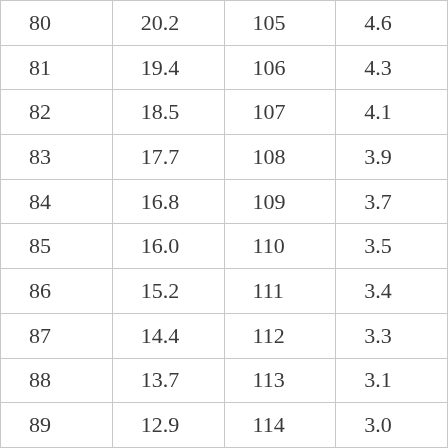| 80 | 20.2 | 105 | 4.6 |
| 81 | 19.4 | 106 | 4.3 |
| 82 | 18.5 | 107 | 4.1 |
| 83 | 17.7 | 108 | 3.9 |
| 84 | 16.8 | 109 | 3.7 |
| 85 | 16.0 | 110 | 3.5 |
| 86 | 15.2 | 111 | 3.4 |
| 87 | 14.4 | 112 | 3.3 |
| 88 | 13.7 | 113 | 3.1 |
| 89 | 12.9 | 114 | 3.0 |